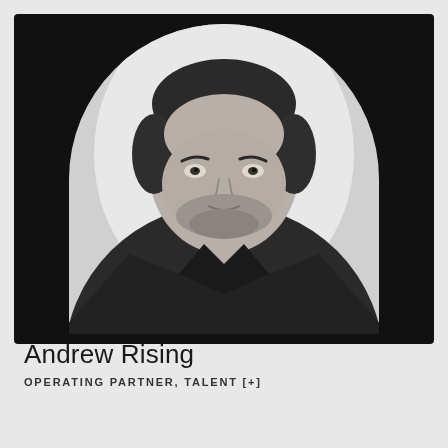[Figure (photo): Black and white professional headshot of Andrew Rising, a man in a dark blazer with an open-collar white shirt, with a beard, set against a light background inside an arch-shaped frame on a dark card.]
Andrew Rising
OPERATING PARTNER, TALENT [+]